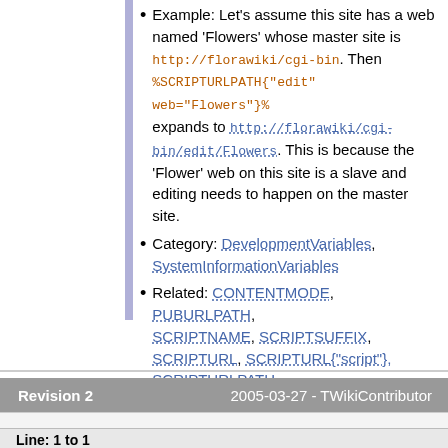Example: Let's assume this site has a web named 'Flowers' whose master site is http://florawiki/cgi-bin. Then %SCRIPTURLPATH{"edit" web="Flowers"}% expands to http://florawiki/cgi-bin/edit/Flowers. This is because the 'Flower' web on this site is a slave and editing needs to happen on the master site.
Category: DevelopmentVariables, SystemInformationVariables
Related: CONTENTMODE, PUBURLPATH, SCRIPTNAME, SCRIPTSUFFIX, SCRIPTURL, SCRIPTURL{"script"}, SCRIPTURLPATH, ReadOnlyAndMirrorWebs, MetadataRepository, TWikiScripts
| Revision 2 | 2005-03-27 - TWikiContributor |
| --- | --- |
Line: 1 to 1